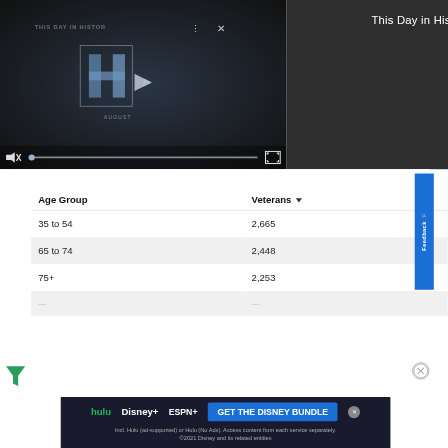[Figure (screenshot): Video player showing 'This Day in History' with dark background, play button, logo, muted audio icon, progress bar, and fullscreen button]
This Day in History
| Age Group | Veterans |
| --- | --- |
| 35 to 54 | 2,665 |
| 65 to 74 | 2,448 |
| 75+ | 2,253 |
[Figure (screenshot): Disney Bundle advertisement banner with Hulu, Disney+, ESPN+ logos and 'GET THE DISNEY BUNDLE' button]